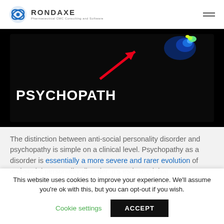RONDAXE Pharmaceutical CMC Consulting and Software
[Figure (photo): Dark background medical/brain scan image with the word PSYCHOPATH in bold white text, a red arrow pointing to a brain scan region, and colorful brain imaging blobs in the upper right.]
The distinction between anti-social personality disorder and psychopathy is simple on a clinical level. Psychopathy as a disorder is essentially a more severe and rarer evolution of anti-social personality disorder. It's estimated that
This website uses cookies to improve your experience. We'll assume you're ok with this, but you can opt-out if you wish.
Cookie settings  ACCEPT